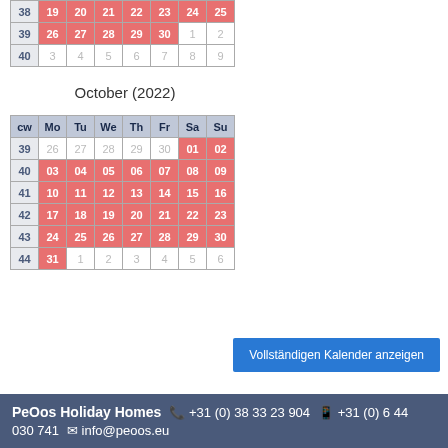| cw | Mo | Tu | We | Th | Fr | Sa | Su |
| --- | --- | --- | --- | --- | --- | --- | --- |
| 38 | 19 | 20 | 21 | 22 | 23 | 24 | 25 |
| 39 | 26 | 27 | 28 | 29 | 30 | 1 | 2 |
| 40 | 3 | 4 | 5 | 6 | 7 | 8 | 9 |
October (2022)
| cw | Mo | Tu | We | Th | Fr | Sa | Su |
| --- | --- | --- | --- | --- | --- | --- | --- |
| 39 | 26 | 27 | 28 | 29 | 30 | 01 | 02 |
| 40 | 03 | 04 | 05 | 06 | 07 | 08 | 09 |
| 41 | 10 | 11 | 12 | 13 | 14 | 15 | 16 |
| 42 | 17 | 18 | 19 | 20 | 21 | 22 | 23 |
| 43 | 24 | 25 | 26 | 27 | 28 | 29 | 30 |
| 44 | 31 | 1 | 2 | 3 | 4 | 5 | 6 |
Vollständigen Kalender anzeigen
PeOos Holiday Homes  +31 (0) 38 33 23 904  +31 (0) 6 44 030 741  info@peoos.eu